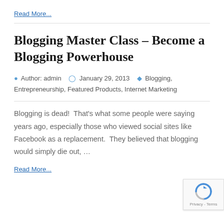Read More...
Blogging Master Class – Become a Blogging Powerhouse
Author: admin   January 29, 2013   Blogging, Entrepreneurship, Featured Products, Internet Marketing
Blogging is dead!  That's what some people were saying years ago, especially those who viewed social sites like Facebook as a replacement.  They believed that blogging would simply die out, …
Read More...